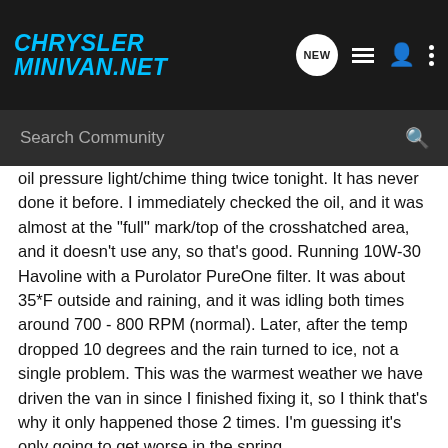ChryslerMinivan.net
Search Community
oil pressure light/chime thing twice tonight. It has never done it before. I immediately checked the oil, and it was almost at the "full" mark/top of the crosshatched area, and it doesn't use any, so that's good. Running 10W-30 Havoline with a Purolator PureOne filter. It was about 35*F outside and raining, and it was idling both times around 700 - 800 RPM (normal). Later, after the temp dropped 10 degrees and the rain turned to ice, not a single problem. This was the warmest weather we have driven the van in since I finished fixing it, so I think that's why it only happened those 2 times. I'm guessing it's only going to get worse in the spring.
So, looks like the first thing to do is replace the OP sensor. I'll give it an oil change at the same time (10W-30 synthetic blend). I just replaced the front timing cover gaskets, O-rings, shaft seal and water pump a couple months ago, and really can't pull the